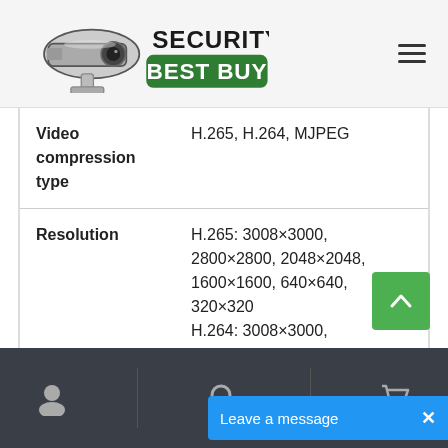[Figure (logo): Security Best Buy logo with security camera icon and green badge]
| Video compression type | H.265, H.264, MJPEG |
| Resolution | H.265: 3008×3000, 2800×2800, 2048×2048, 1600×1600, 640×640, 320×320
H.264: 3008×3000, |
Footer navigation bar with user, search, and cart icons. Leave a message chat button.